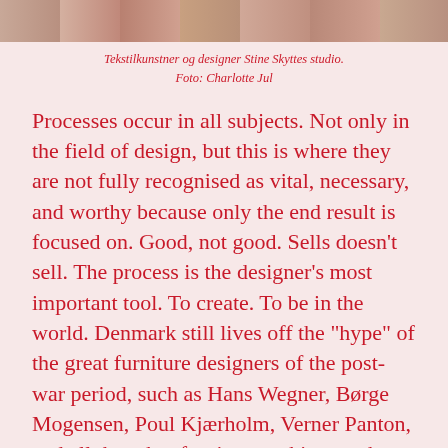[Figure (photo): Cropped photo strip showing Stine Skyttes studio, textile artist and designer]
Tekstilkunstner og designer Stine Skyttes studio.
Foto: Charlotte Jul
Processes occur in all subjects. Not only in the field of design, but this is where they are not fully recognised as vital, necessary, and worthy because only the end result is focused on. Good, not good. Sells doesn’t sell. The process is the designer’s most important tool. To create. To be in the world. Denmark still lives off the “hype” of the great furniture designers of the post-war period, such as Hans Wegner, Børge Mogensen, Poul Kjærholm, Verner Panton, and all the other furniture architects who are relaunched in one go – and enjoy the constant respect that surrounds “Danish Design”.